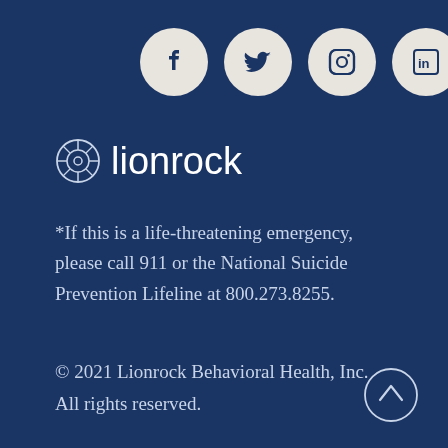[Figure (logo): Social media icons: Facebook, Twitter, Instagram, LinkedIn in light beige circles on dark navy background]
[Figure (logo): Lionrock logo with brain/circuit icon and wordmark 'lionrock' in white on dark navy]
*If this is a life-threatening emergency, please call 911 or the National Suicide Prevention Lifeline at 800.273.8255.
© 2021 Lionrock Behavioral Health, Inc. All rights reserved.